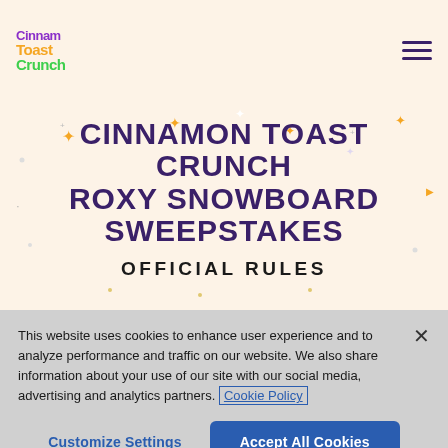Cinnamon Toast Crunch
CINNAMON TOAST CRUNCH ROXY SNOWBOARD SWEEPSTAKES
OFFICIAL RULES
This website uses cookies to enhance user experience and to analyze performance and traffic on our website. We also share information about your use of our site with our social media, advertising and analytics partners. Cookie Policy
Customize Settings
Accept All Cookies